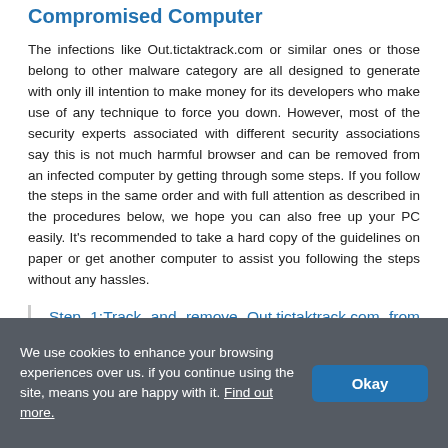Compromised Computer
The infections like Out.tictaktrack.com or similar ones or those belong to other malware category are all designed to generate with only ill intention to make money for its developers who make use of any technique to force you down. However, most of the security experts associated with different security associations say this is not much harmful browser and can be removed from an infected computer by getting through some steps. If you follow the steps in the same order and with full attention as described in the procedures below, we hope you can also free up your PC easily. It’s recommended to take a hard copy of the guidelines on paper or get another computer to assist you following the steps without any hassles.
Step 1:Track and remove Out.tictaktrack.com from computer’s processes from task manager.
We use cookies to enhance your browsing experiences over us. if you continue using the site, means you are happy with it. Find out more.